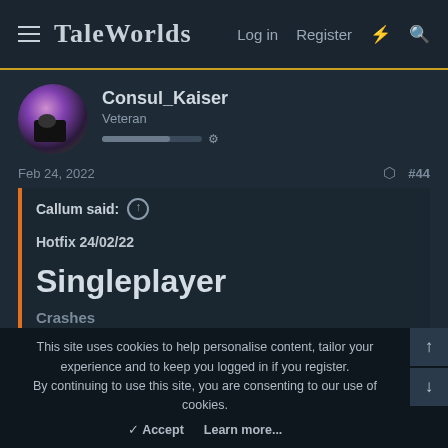TaleWorlds  Log in  Register  ⚡  🔍
Consul_Kaiser
Veteran
Feb 24, 2022  #44
Callum said: ↑

Hotfix 24/02/22

Singleplayer

Crashes
This site uses cookies to help personalise content, tailor your experience and to keep you logged in if you register.
By continuing to use this site, you are consenting to our use of cookies.
✓ Accept  Learn more...